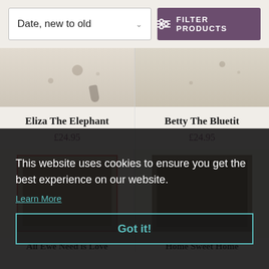[Figure (screenshot): Sort dropdown showing 'Date, new to old' with chevron]
[Figure (screenshot): Filter Products button with sliders icon]
[Figure (illustration): Partial product image for Eliza The Elephant]
Eliza The Elephant
£24.95
[Figure (illustration): Partial product image for Betty The Bluetit]
Betty The Bluetit
£24.95
[Figure (illustration): Partial product image for All Ewe Need is Love (darkened by cookie overlay)]
[Figure (illustration): Partial product image for Home Sweet Home (darkened by cookie overlay)]
This website uses cookies to ensure you get the best experience on our website.
Learn More
Got it!
All Ewe Need is Love
Home Sweet Home